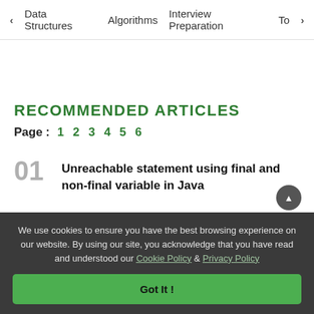< Data Structures   Algorithms   Interview Preparation   To>
RECOMMENDED ARTICLES
Page : 1 2 3 4 5 6
01  Unreachable statement using final and non-final variable in Java
We use cookies to ensure you have the best browsing experience on our website. By using our site, you acknowledge that you have read and understood our Cookie Policy & Privacy Policy
Got It !